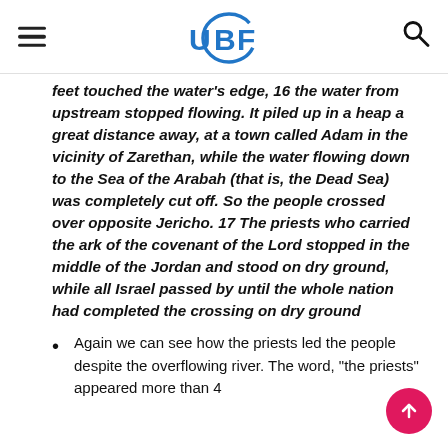UBF
feet touched the water's edge, 16 the water from upstream stopped flowing. It piled up in a heap a great distance away, at a town called Adam in the vicinity of Zarethan, while the water flowing down to the Sea of the Arabah (that is, the Dead Sea) was completely cut off. So the people crossed over opposite Jericho. 17 The priests who carried the ark of the covenant of the Lord stopped in the middle of the Jordan and stood on dry ground, while all Israel passed by until the whole nation had completed the crossing on dry ground
Again we can see how the priests led the people despite the overflowing river. The word, “the priests” appeared more than 4